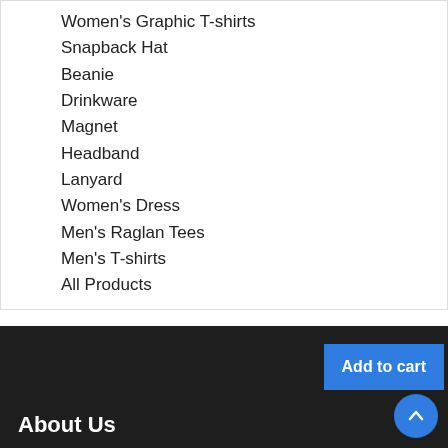Women's Graphic T-shirts
Snapback Hat
Beanie
Drinkware
Magnet
Headband
Lanyard
Women's Dress
Men's Raglan Tees
Men's T-shirts
All Products
About Us